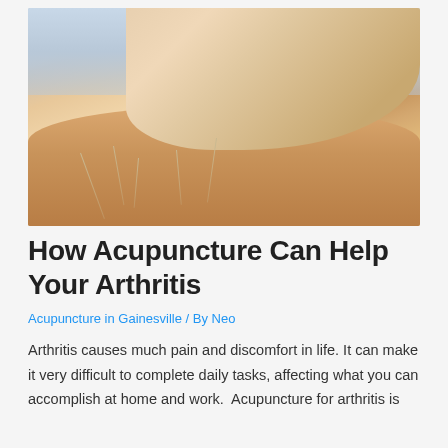[Figure (photo): Close-up photo of acupuncture needles being inserted into a patient's back by a practitioner's hands]
How Acupuncture Can Help Your Arthritis
Acupuncture in Gainesville / By Neo
Arthritis causes much pain and discomfort in life. It can make it very difficult to complete daily tasks, affecting what you can accomplish at home and work.  Acupuncture for arthritis is